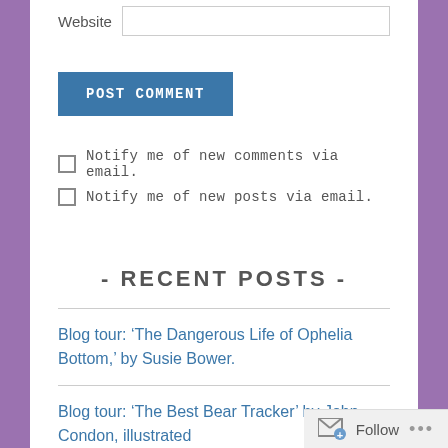Website
POST COMMENT
Notify me of new comments via email.
Notify me of new posts via email.
- RECENT POSTS -
Blog tour: ‘The Dangerous Life of Ophelia Bottom,’ by Susie Bower.
Blog tour: ‘The Best Bear Tracker’ by John Condon, illustrated
Follow